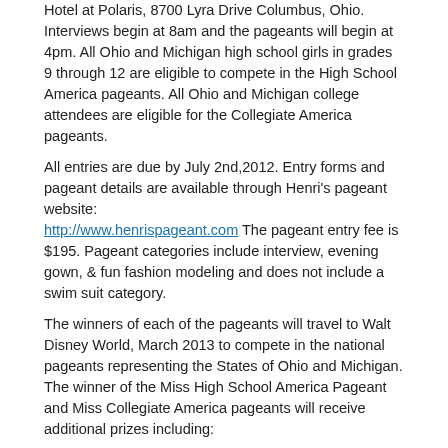Hotel at Polaris, 8700 Lyra Drive Columbus, Ohio.  Interviews begin at 8am and the pageants will begin at 4pm. All Ohio and Michigan high school girls in grades 9 through 12 are eligible to compete in the High School America pageants.  All Ohio and Michigan college attendees are eligible for the Collegiate America pageants.
All entries are due by July 2nd,2012.  Entry forms and pageant details are available through Henri's pageant website: http://www.henrispageant.com The pageant entry fee is $195.  Pageant categories include interview,  evening gown, & fun fashion modeling and does not include a swim suit category.
The winners of each of the pageants will travel  to Walt Disney World,  March 2013 to compete in the national pageants representing the States of Ohio and Michigan. The winner of the Miss High School America Pageant and Miss Collegiate America pageants will receive additional prizes including:
A $10,000 scholarship
A photo shoot with top designers
A feature spot in national prom national magazines
Top 5 High School America winners will model in the 2013 Cool Book prom magazine
Appearance Wardrobe